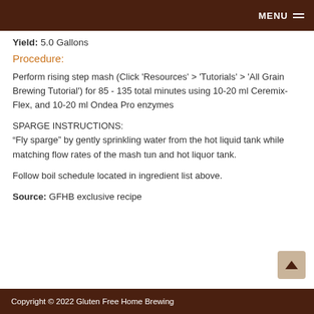MENU
Yield: 5.0 Gallons
Procedure:
Perform rising step mash (Click 'Resources' > 'Tutorials' > 'All Grain Brewing Tutorial') for 85 - 135 total minutes using 10-20 ml Ceremix-Flex, and 10-20 ml Ondea Pro enzymes
SPARGE INSTRUCTIONS:
“Fly sparge” by gently sprinkling water from the hot liquid tank while matching flow rates of the mash tun and hot liquor tank.
Follow boil schedule located in ingredient list above.
Source: GFHB exclusive recipe
Copyright © 2022 Gluten Free Home Brewing